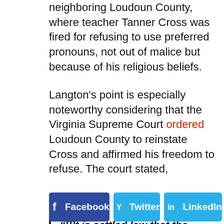neighboring Loudoun County, where teacher Tanner Cross was fired for refusing to use preferred pronouns, not out of malice but because of his religious beliefs.
Langton's point is especially noteworthy considering that the Virginia Supreme Court ordered Loudoun County to reinstate Cross and affirmed his freedom to refuse. The court stated,
“[I]t is settled law that the government may not take adverse employment actions against its employees in reprisal for their exercising their right to speak on matters of public concern...